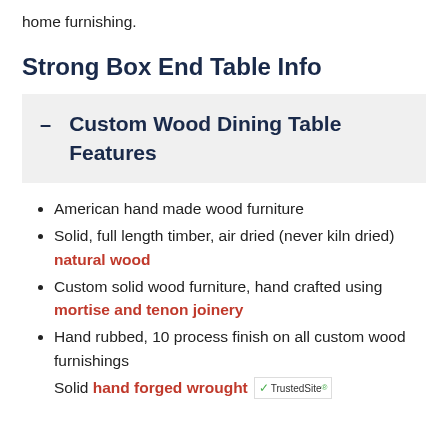home furnishing.
Strong Box End Table Info
– Custom Wood Dining Table Features
American hand made wood furniture
Solid, full length timber, air dried (never kiln dried) natural wood
Custom solid wood furniture, hand crafted using mortise and tenon joinery
Hand rubbed, 10 process finish on all custom wood furnishings
Solid hand forged wrought